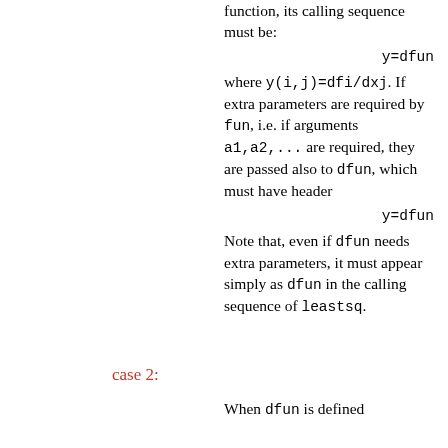function, its calling sequence must be:
where y(i,j)=dfi/dxj. If extra parameters are required by fun, i.e. if arguments a1,a2,... are required, they are passed also to dfun, which must have header
Note that, even if dfun needs extra parameters, it must appear simply as dfun in the calling sequence of leastsq.
case 2:
When dfun is defined